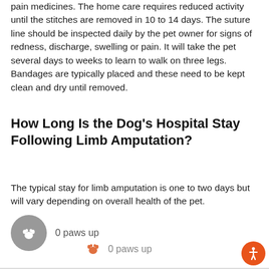pain medicines. The home care requires reduced activity until the stitches are removed in 10 to 14 days. The suture line should be inspected daily by the pet owner for signs of redness, discharge, swelling or pain. It will take the pet several days to weeks to learn to walk on three legs. Bandages are typically placed and these need to be kept clean and dry until removed.
How Long Is the Dog's Hospital Stay Following Limb Amputation?
The typical stay for limb amputation is one to two days but will vary depending on overall health of the pet.
[Figure (other): Gray circular button with white paw print icon and text '0 paws up']
[Figure (other): Orange paw print icon with text '0 paws up']
[Figure (other): Orange accessibility icon button in bottom right corner]